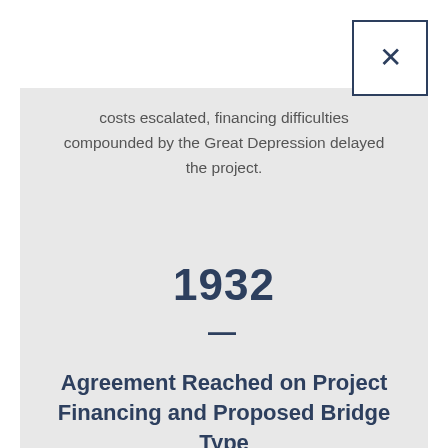costs escalated, financing difficulties compounded by the Great Depression delayed the project.
1932
—
Agreement Reached on Project Financing and Proposed Bridge Type